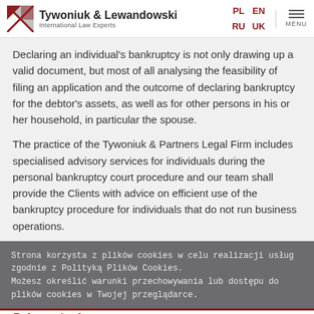Tywoniuk & Lewandowski — International Law Experts
Declaring an individual's bankruptcy is not only drawing up a valid document, but most of all analysing the feasibility of filing an application and the outcome of declaring bankruptcy for the debtor's assets, as well as for other persons in his or her household, in particular the spouse.
The practice of the Tywoniuk & Partners Legal Firm includes specialised advisory services for individuals during the personal bankruptcy court procedure and our team shall provide the Clients with advice on efficient use of the bankruptcy procedure for individuals that do not run business operations.
Strona korzysta z plików cookies w celu realizacji usług zgodnie z Polityką Plików Cookies.
Możesz określić warunki przechowywania lub dostępu do plików cookies w Twojej przeglądarce.